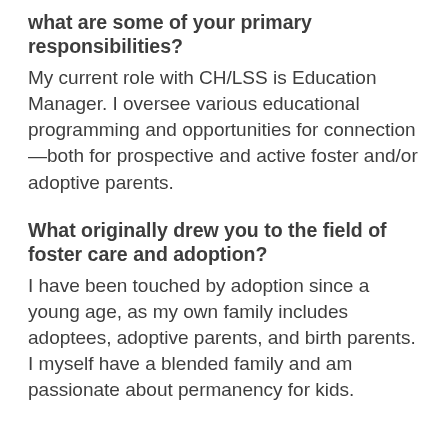what are some of your primary responsibilities?
My current role with CH/LSS is Education Manager. I oversee various educational programming and opportunities for connection—both for prospective and active foster and/or adoptive parents.
What originally drew you to the field of foster care and adoption?
I have been touched by adoption since a young age, as my own family includes adoptees, adoptive parents, and birth parents. I myself have a blended family and am passionate about permanency for kids.